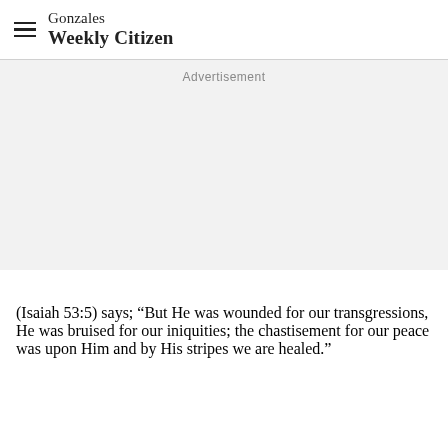Gonzales Weekly Citizen
[Figure (other): Advertisement placeholder area with gray background and 'Advertisement' label at top center]
(Isaiah 53:5) says; “But He was wounded for our transgressions, He was bruised for our iniquities; the chastisement for our peace was upon Him and by His stripes we are healed.”